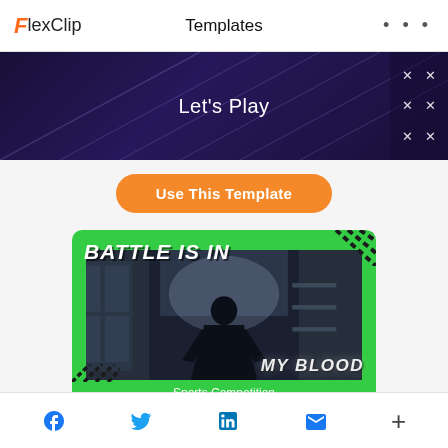FlexClip  Templates  ...
[Figure (screenshot): Dark purple banner with 'Let's Play' text and X marks grid on right side]
Use This Template
[Figure (screenshot): Green sports competition template card with 'BATTLE IS IN' and 'MY BLOOD' text overlay on dark video frame, labeled 'Sports Competition']
f  Twitter  in  Email  +